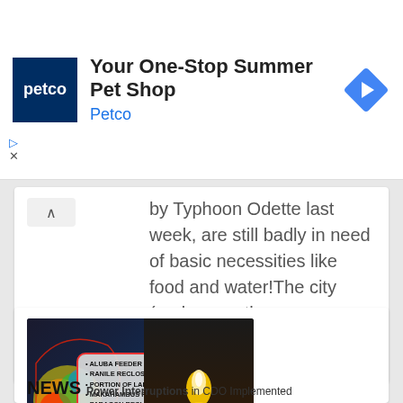[Figure (other): Petco advertisement banner with logo, text 'Your One-Stop Summer Pet Shop / Petco', and navigation arrow icon]
by Typhoon Odette last week, are still badly in need of basic necessities like food and water!The city (and even other areas around the province)...
[Figure (photo): News article image showing a radar weather map on the left with a bulletin listing power interruption areas (ALUBA FEEDER 1, RANILE RECLOSER, PORTION OF LAPASAN, MAKAHAMBUS RECLOSER, PARAGON RECLOSER, AREAS NEAR RIVER BANKS) and a candle flame on the right. Cdeo News tag at bottom.]
NEWS Power Interruptions in CDO Implemented